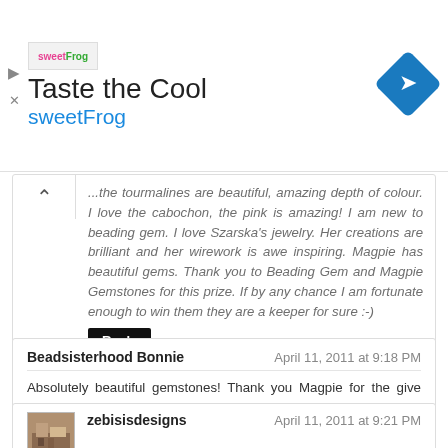[Figure (other): Advertisement banner for sweetFrog frozen yogurt. Shows sweetFrog logo, 'Taste the Cool' heading, 'sweetFrog' subtitle in blue, and a blue diamond-shaped navigation icon on the right.]
...the tourmalines are beautiful, amazing depth of colour. I love the cabochon, the pink is amazing! I am new to beading gem. I love Szarska's jewelry. Her creations are brilliant and her wirework is awe inspiring. Magpie has beautiful gems. Thank you to Beading Gem and Magpie Gemstones for this prize. If by any chance I am fortunate enough to win them they are a keeper for sure :-)
Reply
Beadsisterhood Bonnie
April 11, 2011 at 9:18 PM
Absolutely beautiful gemstones! Thank you Magpie for the give away and to Pearl for her fabulous blog!!
Reply
[Figure (photo): Small thumbnail avatar image showing an interior scene]
zebisisdesigns
April 11, 2011 at 9:21 PM